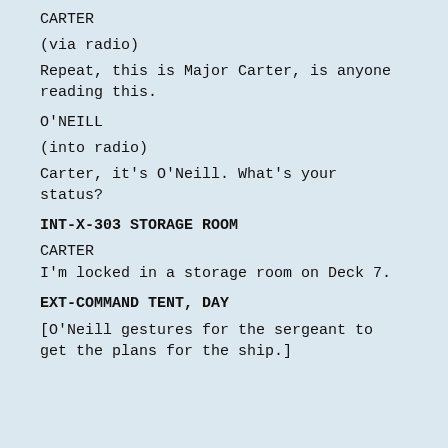CARTER
(via radio)
Repeat, this is Major Carter, is anyone reading this.
O'NEILL
(into radio)
Carter, it's O'Neill. What's your status?
INT-X-303 STORAGE ROOM
CARTER
I'm locked in a storage room on Deck 7.
EXT-COMMAND TENT, DAY
[O'Neill gestures for the sergeant to get the plans for the ship.]